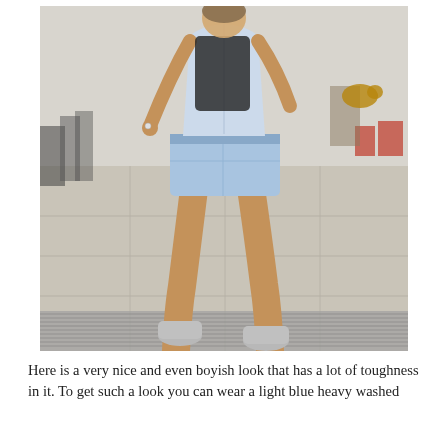[Figure (photo): A woman walking on a sidewalk wearing denim cut-off shorts, a light blue chambray shirt, a backpack, and white sneakers. Other people and a dog are visible in the background. The street scene appears to be outdoors in a sunny location.]
Here is a very nice and even boyish look that has a lot of toughness in it. To get such a look you can wear a light blue heavy washed